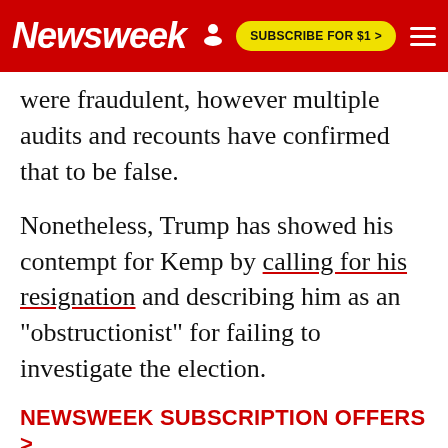Newsweek | SUBSCRIBE FOR $1 >
were fraudulent, however multiple audits and recounts have confirmed that to be false.
Nonetheless, Trump has showed his contempt for Kemp by calling for his resignation and describing him as an "obstructionist" for failing to investigate the election.
NEWSWEEK SUBSCRIPTION OFFERS >
On Saturday, Kemp spokesperson Cody Hall did not address questions directly about Trump. However, he told Newsweek that the